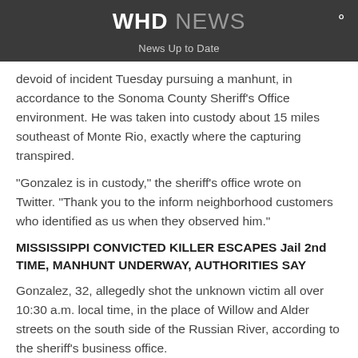WHD NEWS
News Up to Date
devoid of incident Tuesday pursuing a manhunt, in accordance to the Sonoma County Sheriff’s Office environment. He was taken into custody about 15 miles southeast of Monte Rio, exactly where the capturing transpired.
“Gonzalez is in custody,” the sheriff’s office wrote on Twitter. “Thank you to the inform neighborhood customers who identified as us when they observed him.”
MISSISSIPPI CONVICTED KILLER ESCAPES Jail 2nd TIME, MANHUNT UNDERWAY, AUTHORITIES SAY
Gonzalez, 32, allegedly shot the unknown victim all over 10:30 a.m. local time, in the place of Willow and Alder streets on the south side of the Russian River, according to the sheriff’s business office.
The victim and Gonzalez are also...